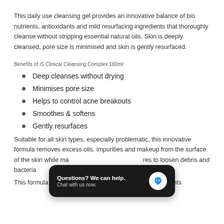This daily use cleansing gel provides an innovative balance of bio nutrients, antioxidants and mild resurfacing ingredients that thoroughly cleanse without stripping essential natural oils. Skin is deeply cleansed, pore size is minimised and skin is gently resurfaced.
Benefits of iS Clinical Cleansing Complex 180ml:
Deep cleanses without drying
Minimises pore size
Helps to control acne breakouts
Smoothes & softens
Gently resurfaces
Suitable for all skin types, especially problematic, this innovative formula removes excess oils, impurities and makeup from the surface of the skin while massaging deep within the pores to loosen debris and bacteria.
This formula also contains a wide range of active ingredients